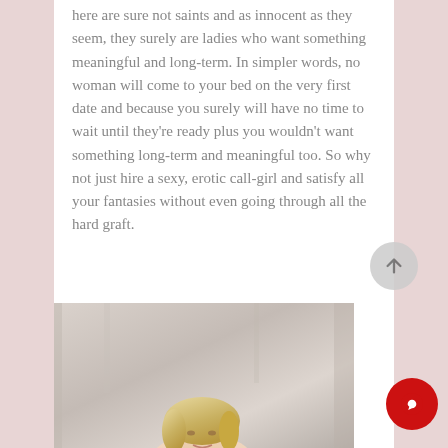here are sure not saints and as innocent as they seem, they surely are ladies who want something meaningful and long-term. In simpler words, no woman will come to your bed on the very first date and because you surely will have no time to wait until they're ready plus you wouldn't want something long-term and meaningful too. So why not just hire a sexy, erotic call-girl and satisfy all your fantasies without even going through all the hard graft.
[Figure (photo): A blonde woman photographed from above against a light draped fabric background]